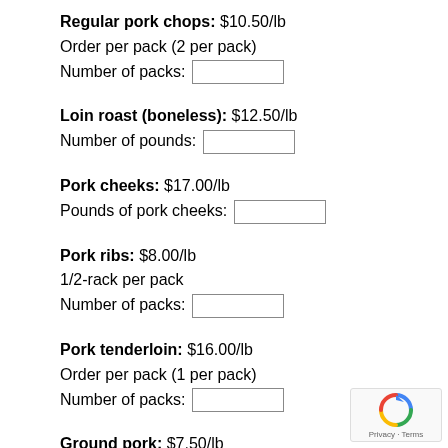Regular pork chops: $10.50/lb
Order per pack (2 per pack)
Number of packs: [input]
Loin roast (boneless): $12.50/lb
Number of pounds: [input]
Pork cheeks: $17.00/lb
Pounds of pork cheeks: [input]
Pork ribs: $8.00/lb
1/2-rack per pack
Number of packs: [input]
Pork tenderloin: $16.00/lb
Order per pack (1 per pack)
Number of packs: [input]
Ground pork: $7.50/lb